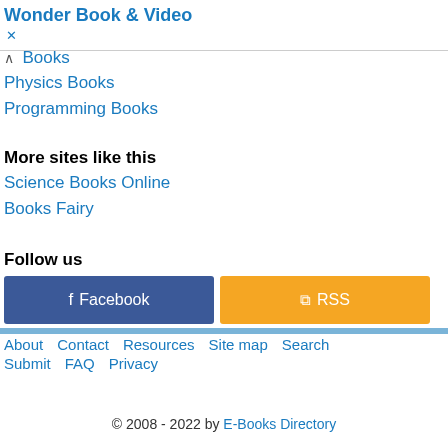Wonder Book & Video
Books
Physics Books
Programming Books
More sites like this
Science Books Online
Books Fairy
Follow us
[Figure (other): Facebook and RSS social media buttons]
About   Contact   Resources   Site map   Search   Submit   FAQ   Privacy
© 2008 - 2022 by E-Books Directory